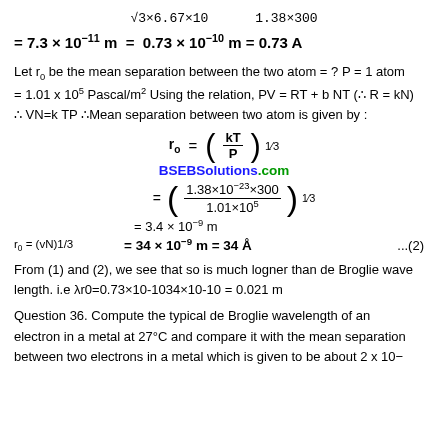Let r0 be the mean separation between the two atom = ? P = 1 atom = 1.01 x 105 Pascal/m2 Using the relation, PV = RT + b NT (∴ R = kN) ∴ VN=k TP ∴Mean separation between two atom is given by :
BSEBSolutions.com
r0 = (vN)1/3
...(2)
From (1) and (2), we see that so is much logner than de Broglie wave length. i.e λr0=0.73×10-1034×10-10 = 0.021 m
Question 36. Compute the typical de Broglie wavelength of an electron in a metal at 27°C and compare it with the mean separation between two electrons in a metal which is given to be about 2 x 10-10. [Note: Formulas 11.35 and 11.36 can also be applied to that alike the...